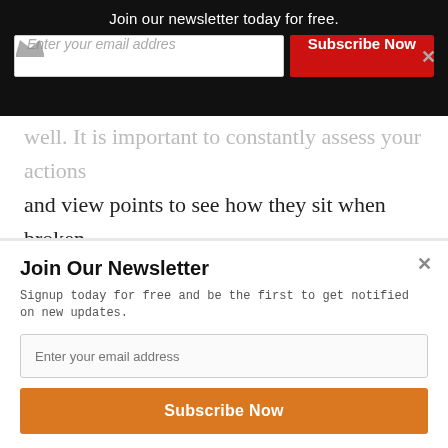Join our newsletter today for free.
well. It is important to constantly assess your actions and view points to see how they sit when broken down so you can eventually learn to do this before acting. Have you experienced anything similar and how did you handle it?
Join Our Newsletter
Signup today for free and be the first to get notified on new updates.